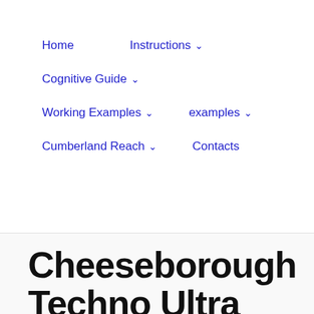Home    Instructions ˅
Cognitive Guide ˅
Working Examples ˅    examples ˅
Cumberland Reach ˅    Contacts
Cheeseborough Techno Ultra